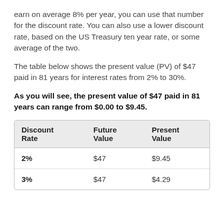earn on average 8% per year, you can use that number for the discount rate. You can also use a lower discount rate, based on the US Treasury ten year rate, or some average of the two.
The table below shows the present value (PV) of $47 paid in 81 years for interest rates from 2% to 30%.
As you will see, the present value of $47 paid in 81 years can range from $0.00 to $9.45.
| Discount Rate | Future Value | Present Value |
| --- | --- | --- |
| 2% | $47 | $9.45 |
| 3% | $47 | $4.29 |